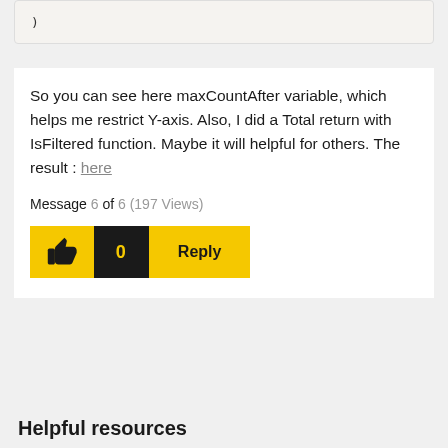)
So you can see here maxCountAfter variable, which helps me restrict Y-axis. Also, I did a Total return with IsFiltered function. Maybe it will helpful for others. The result : here
Message 6 of 6 (197 Views)
[Figure (other): Like button (thumbs up icon on yellow background), count badge showing 0 on black background, and Reply button on yellow background]
Helpful resources